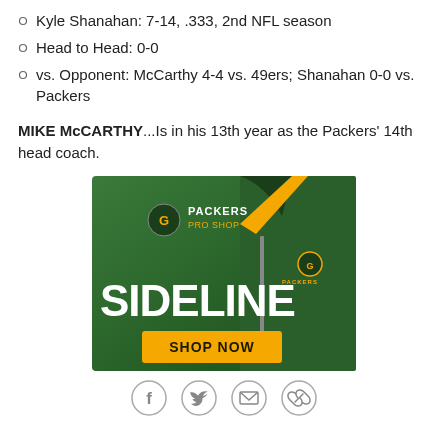Kyle Shanahan: 7-14, .333, 2nd NFL season
Head to Head: 0-0
vs. Opponent: McCarthy 4-4 vs. 49ers; Shanahan 0-0 vs. Packers
MIKE McCARTHY...Is in his 13th year as the Packers' 14th head coach.
[Figure (illustration): Packers Pro Shop advertisement showing a green quarter-zip jacket with yellow accents, Packers logo, text SIDELINE in large white letters, and a yellow SHOP NOW button.]
[Figure (infographic): Social sharing icons row: Facebook, Twitter, Email, and Link icons in circular outlines.]